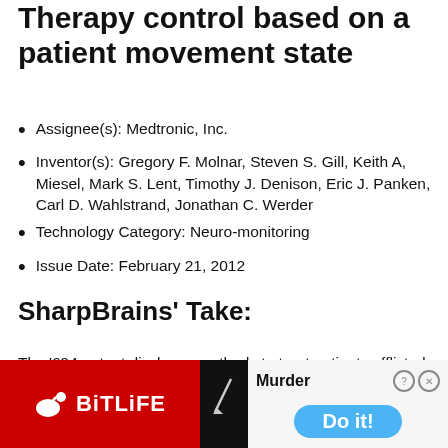Therapy control based on a patient movement state
Assignee(s): Medtronic, Inc.
Inventor(s): Gregory F. Molnar, Steven S. Gill, Keith A, Miesel, Mark S. Lent, Timothy J. Denison, Eric J. Panken, Carl D. Wahlstrand, Jonathan C. Werder
Technology Category: Neuro-monitoring
Issue Date: February 21, 2012
SharpBrains’ Take:
The ‘694 patent discloses methods to treat patients afflicted with movement or other neurodegenerative disorders. [Read…]